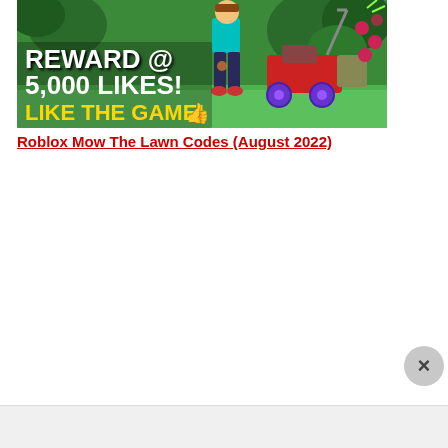[Figure (screenshot): Roblox 'Mow The Lawn' game screenshot showing a cartoon character near a lawnmower on a green lawn, with text overlay reading 'REWARD @ 5,000 LIKES! LIKE THE GAME!' with a thumbs up emoji]
Roblox Mow The Lawn Codes (August 2022)